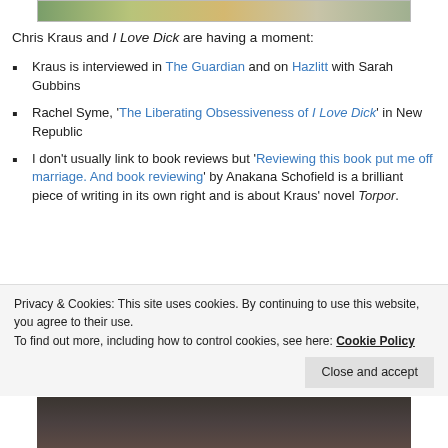[Figure (photo): Partial photo at the top of the page, cropped]
Chris Kraus and I Love Dick are having a moment:
Kraus is interviewed in The Guardian and on Hazlitt with Sarah Gubbins
Rachel Syme, 'The Liberating Obsessiveness of I Love Dick' in New Republic
I don't usually link to book reviews but 'Reviewing this book put me off marriage. And book reviewing' by Anakana Schofield is a brilliant piece of writing in its own right and is about Kraus' novel Torpor.
Privacy & Cookies: This site uses cookies. By continuing to use this website, you agree to their use.
To find out more, including how to control cookies, see here: Cookie Policy
[Figure (photo): Partial photo at the bottom of the page, cropped]